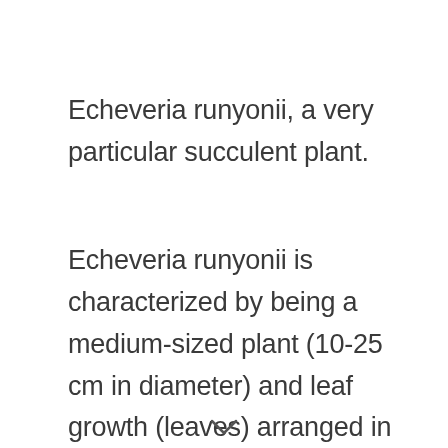Echeveria runyonii, a very particular succulent plant.
Echeveria runyonii is characterized by being a medium-sized plant (10-25 cm in diameter) and leaf growth (leaves) arranged in rosette.